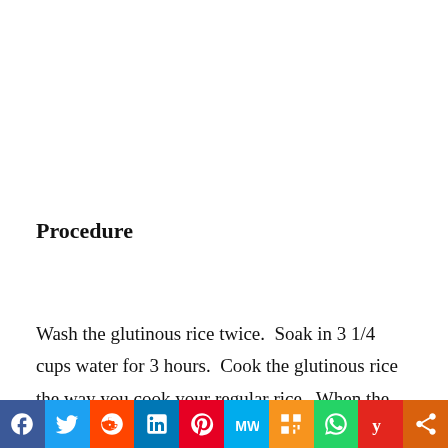Procedure
Wash the glutinous rice twice.  Soak in 3 1/4 cups water for 3 hours.  Cook the glutinous rice the way you cook your regular rice.  When the rice is done,
[Figure (infographic): Social media sharing bar with icons: Facebook, Twitter, Reddit, LinkedIn, Pinterest, MeWe, Mix, WhatsApp, Yummly, Share]